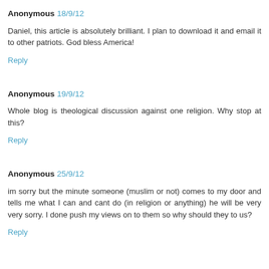Anonymous 18/9/12
Daniel, this article is absolutely brilliant. I plan to download it and email it to other patriots. God bless America!
Reply
Anonymous 19/9/12
Whole blog is theological discussion against one religion. Why stop at this?
Reply
Anonymous 25/9/12
im sorry but the minute someone (muslim or not) comes to my door and tells me what I can and cant do (in religion or anything) he will be very very sorry. I done push my views on to them so why should they to us?
Reply